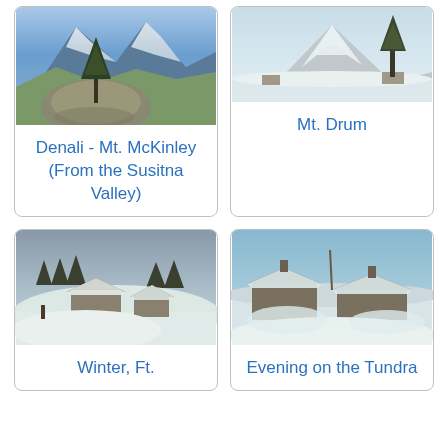[Figure (illustration): Painting of Denali - Mt. McKinley mountain with snow-capped peaks and a tree on rocky foreground, viewed from Susitna Valley]
Denali - Mt. McKinley (From the Susitna Valley)
[Figure (illustration): Painting of Mt. Drum with snow-covered mountain and a tall pine tree in winter landscape]
Mt. Drum
[Figure (illustration): Painting of a winter scene at Ft. with snow-covered buildings and trees]
Winter, Ft.
[Figure (illustration): Painting of evening on the tundra with snow-covered cabin structures]
Evening on the Tundra